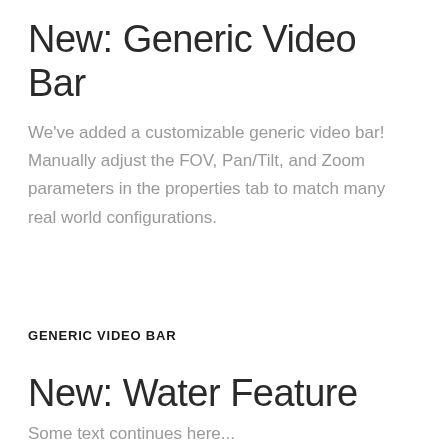New: Generic Video Bar
We've added a customizable generic video bar! Manually adjust the FOV, Pan/Tilt, and Zoom parameters in the properties tab to match many real world configurations.
GENERIC VIDEO BAR
New: Water Feature
Some text continues here...